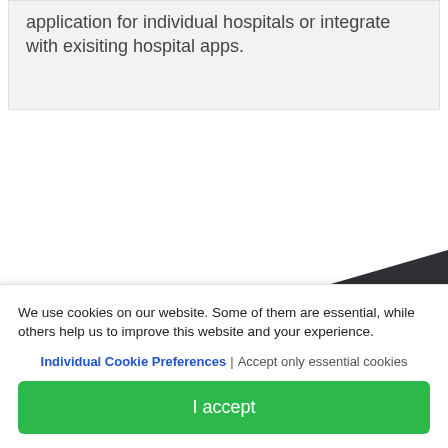application for individual hospitals or integrate with exisiting hospital apps.
[Figure (illustration): Dark diagonal/triangular decorative background shape with a downward chevron arrow in the center]
We use cookies on our website. Some of them are essential, while others help us to improve this website and your experience.
Individual Cookie Preferences | Accept only essential cookies
I accept